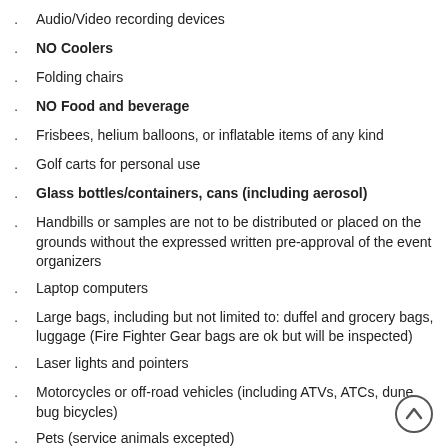Audio/Video recording devices
NO Coolers
Folding chairs
NO Food and beverage
Frisbees, helium balloons, or inflatable items of any kind
Golf carts for personal use
Glass bottles/containers, cans (including aerosol)
Handbills or samples are not to be distributed or placed on the grounds without the expressed written pre-approval of the event organizers
Laptop computers
Large bags, including but not limited to: duffel and grocery bags, luggage (Fire Fighter Gear bags are ok but will be inspected)
Laser lights and pointers
Motorcycles or off-road vehicles (including ATVs, ATCs, dune bug bicycles)
Pets (service animals excepted)